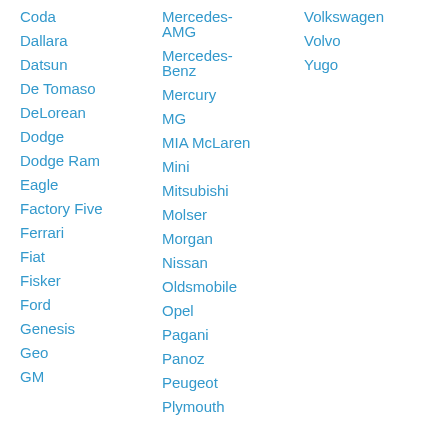Coda
Dallara
Datsun
De Tomaso
DeLorean
Dodge
Dodge Ram
Eagle
Factory Five
Ferrari
Fiat
Fisker
Ford
Genesis
Geo
GM
Mercedes-AMG
Mercedes-Benz
Mercury
MG
MIA McLaren
Mini
Mitsubishi
Molser
Morgan
Nissan
Oldsmobile
Opel
Pagani
Panoz
Peugeot
Plymouth
Volkswagen
Volvo
Yugo